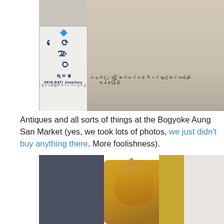[Figure (photo): Street scene at Bogyoke Aung San Market showing a large red billboard with a woman wearing jewellery, and a smaller shop sign reading SEIN RATI Jewellery with Burmese script]
Antiques and all sorts of things at the Bogyoke Aung San Market (yes, we took lots of photos, we just didn't buy anything there. More foolishness).
[Figure (photo): Market stall interior showing golden decorative figures and antique items at Bogyoke Aung San Market]